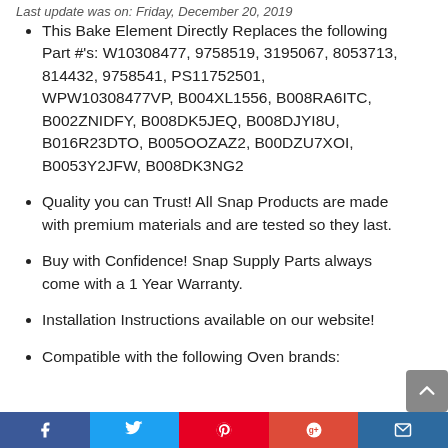Last update was on: Friday, December 20, 2019
This Bake Element Directly Replaces the following Part #'s: W10308477, 9758519, 3195067, 8053713, 814432, 9758541, PS11752501, WPW10308477VP, B004XL1556, B008RA6ITC, B002ZNIDFY, B008DK5JEQ, B008DJYI8U, B016R23DTO, B005OOZAZ2, B00DZU7XOI, B0053Y2JFW, B008DK3NG2
Quality you can Trust! All Snap Products are made with premium materials and are tested so they last.
Buy with Confidence! Snap Supply Parts always come with a 1 Year Warranty.
Installation Instructions available on our website!
Compatible with the following Oven brands: